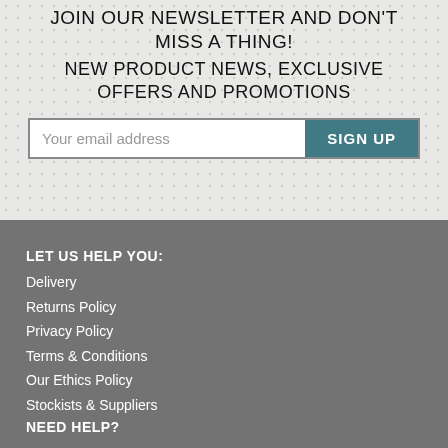JOIN OUR NEWSLETTER AND DON'T MISS A THING!
NEW PRODUCT NEWS, EXCLUSIVE OFFERS AND PROMOTIONS
Your email address
SIGN UP
LET US HELP YOU:
Delivery
Returns Policy
Privacy Policy
Terms & Conditions
Our Ethics Policy
Stockists & Suppliers
NEED HELP?